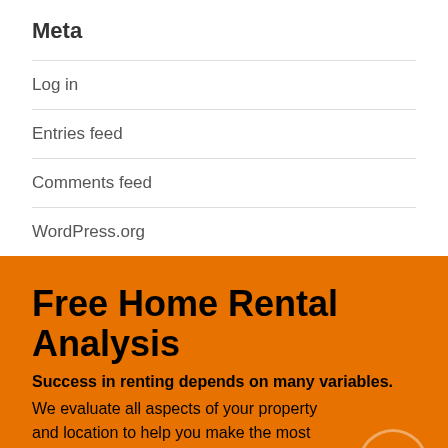Meta
Log in
Entries feed
Comments feed
WordPress.org
Free Home Rental Analysis
Success in renting depends on many variables.
We evaluate all aspects of your property and location to help you make the most profitable decisions.
[Figure (illustration): Blue bar at the bottom of the orange section, partially visible]